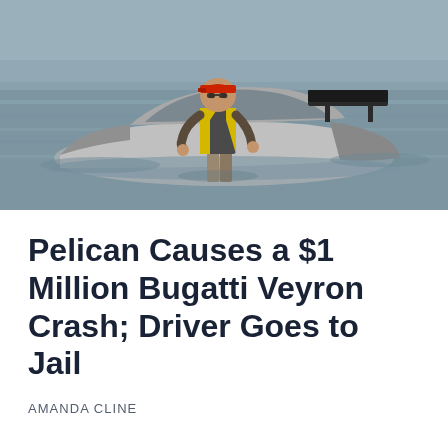[Figure (photo): A man in a yellow safety vest and baseball cap stands on top of a partially submerged silver/white Bugatti Veyron supercar in a body of water. The car's distinctive large rear wing is visible. The water is grey-brown.]
Pelican Causes a $1 Million Bugatti Veyron Crash; Driver Goes to Jail
AMANDA CLINE